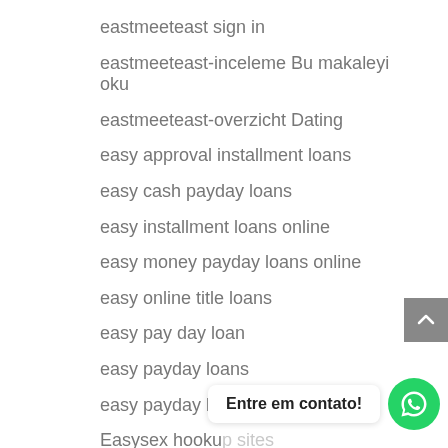eastmeeteast sign in
eastmeeteast-inceleme Bu makaleyi oku
eastmeeteast-overzicht Dating
easy approval installment loans
easy cash payday loans
easy installment loans online
easy money payday loans online
easy online title loans
easy pay day loan
easy payday loans
easy payday loans to get
Easysex hookup sites
Ebonyflirt aplicacion para ligar
Entre em contato!